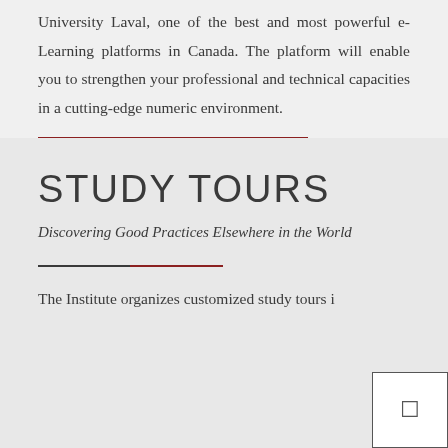University Laval, one of the best and most powerful e-Learning platforms in Canada. The platform will enable you to strengthen your professional and technical capacities in a cutting-edge numeric environment.
STUDY TOURS
Discovering Good Practices Elsewhere in the World
The Institute organizes customized study tours i